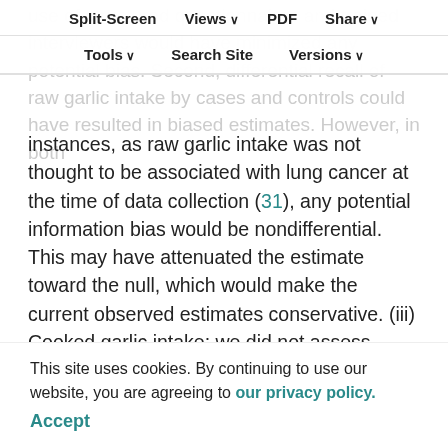use of structured questionnaires and trained interviewers would have minimized any potential bias. Second, differential recall of raw garlic intake by cases and controls could have resulted in biased estimates. However, in both instances, as raw garlic intake was not thought to be associated with lung cancer at the time of data collection (31), any potential information bias would be nondifferential. This may have attenuated the estimate toward the null, which would make the current observed estimates conservative. (iii) Cooked garlic intake: we did not assess consumption of cooked garlic. Heating garlic seems to drastically diminish its anticarcinogenic properties (8, 39, 40). If we assume that a certain amount
Split-Screen | Views | PDF | Share | Tools | Search Site | Versions
of cooked garlic and participants who ate cooked garlic, it may lead to exposure misclassification. If
This site uses cookies. By continuing to use our website, you are agreeing to our privacy policy. Accept